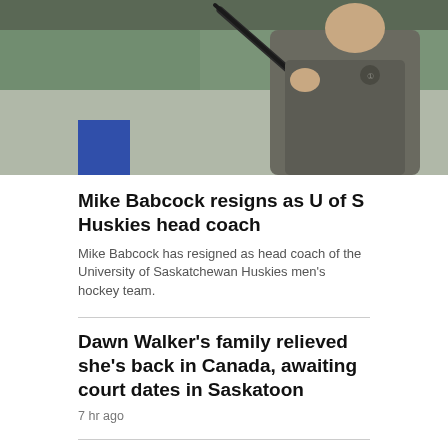[Figure (photo): A person in a grey zip-up jacket holding a hockey stick at a hockey rink, with green arena seats visible in the background and a blue board section at bottom left.]
Mike Babcock resigns as U of S Huskies head coach
Mike Babcock has resigned as head coach of the University of Saskatchewan Huskies men's hockey team.
Dawn Walker's family relieved she's back in Canada, awaiting court dates in Saskatoon
7 hr ago
Sask. minister of highways says trust between producers and feds has been 'eroded'
7 hr ago